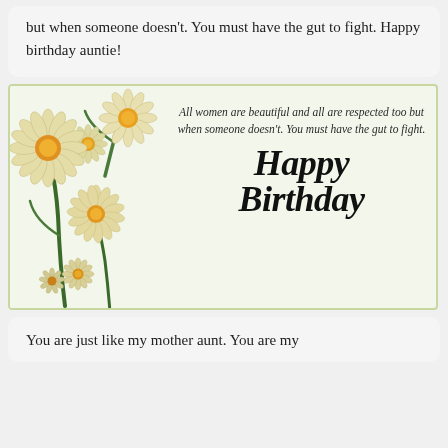but when someone doesn't. You must have the gut to fight. Happy birthday auntie!
[Figure (illustration): Birthday greeting card with daisy flowers on the left side and text: 'All women are beautiful and all are respected too but when someone doesn't. You must have the gut to fight. Happy Birthday']
You are just like my mother aunt. You are my